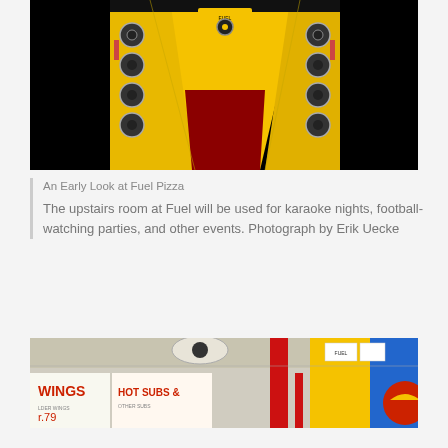[Figure (photo): Interior photo of Fuel Pizza upstairs room showing a bowling-alley-style corridor with yellow walls, circular speaker/record decorations, red carpet, and restaurant seating in the background. Dark borders at top and bottom.]
An Early Look at Fuel Pizza
The upstairs room at Fuel will be used for karaoke nights, football-watching parties, and other events. Photograph by Erik Uecke
[Figure (photo): Interior photo of Fuel Pizza showing the hallway/corridor with signs reading 'WINGS' and 'HOT SUBS' with prices, industrial ceiling, red structural columns, yellow and blue accent walls with a red circular logo element.]